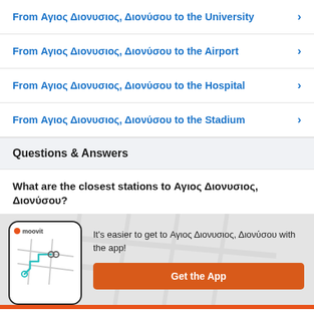From Αγιος Διονυσιος, Διονύσου to the University
From Αγιος Διονυσιος, Διονύσου to the Airport
From Αγιος Διονυσιος, Διονύσου to the Hospital
From Αγιος Διονυσιος, Διονύσου to the Stadium
Questions & Answers
What are the closest stations to Αγιος Διονυσιος, Διονύσου?
It's easier to get to Αγιος Διονυσιος, Διονύσου with the app!
Get the App